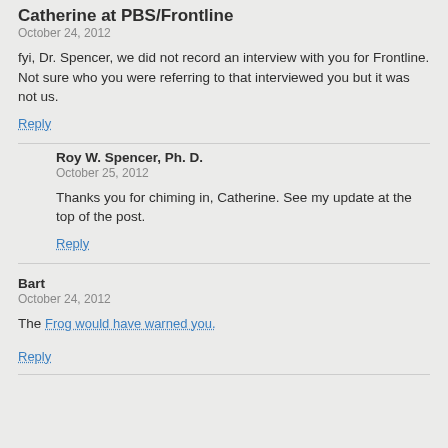Catherine at PBS/Frontline
October 24, 2012
fyi, Dr. Spencer, we did not record an interview with you for Frontline. Not sure who you were referring to that interviewed you but it was not us.
Reply
Roy W. Spencer, Ph. D.
October 25, 2012
Thanks you for chiming in, Catherine. See my update at the top of the post.
Reply
Bart
October 24, 2012
The Frog would have warned you.
Reply